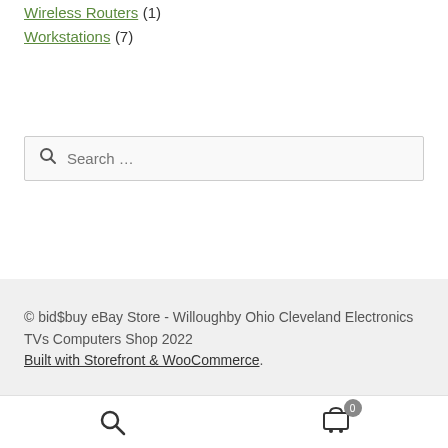Wireless Routers (1)
Workstations (7)
Search ...
© bid$buy eBay Store - Willoughby Ohio Cleveland Electronics TVs Computers Shop 2022
Built with Storefront & WooCommerce.